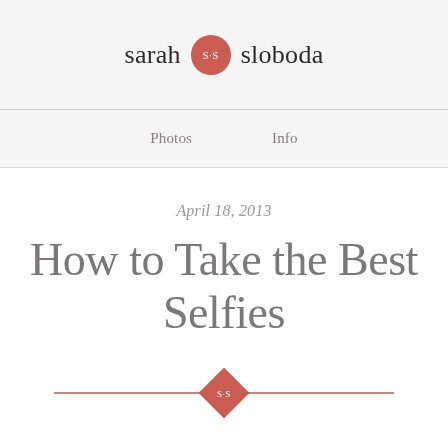sarah S·S sloboda
Photos   Info
April 18, 2013
How to Take the Best Selfies
[Figure (illustration): Decorative horizontal divider with two lines and a red diamond shape in the center containing the initials S·S]